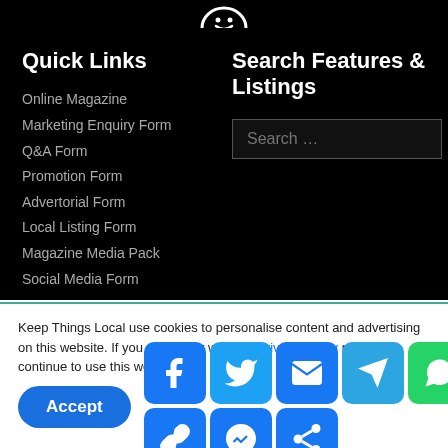[Figure (logo): Partial logo icon at top (smiley/round shape) on black background]
Quick Links
Online Magazine
Marketing Enquiry Form
Q&A Form
Promotion Form
Advertorial Form
Local Listing Form
Magazine Media Pack
Social Media Form
Search Features & Listings
Keep Things Local use cookies to personalise content and advertising on this website. If you are happy with our Privacy Policy please continue to use this website.
[Figure (infographic): Social share buttons: Facebook, Twitter, Email, Telegram, WhatsApp, Copy Link, Messenger, More]